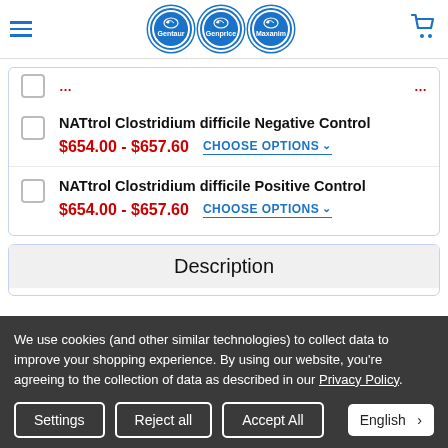[Figure (logo): Gentaur, Genprice, Maxanim logo circles in header]
NATtrol Clostridium difficile Negative Control $654.00 - $657.60 CHOOSE OPTIONS
NATtrol Clostridium difficile Positive Control $654.00 - $657.60 CHOOSE OPTIONS
Description
We use cookies (and other similar technologies) to collect data to improve your shopping experience. By using our website, you're agreeing to the collection of data as described in our Privacy Policy.